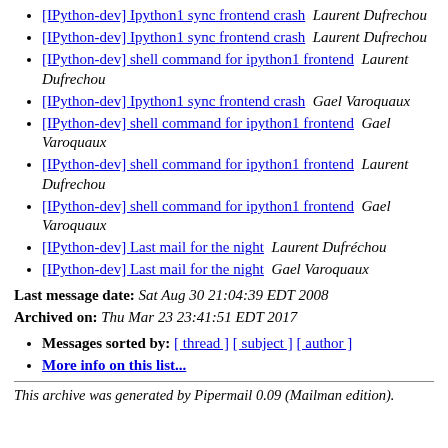[IPython-dev] Ipython1 sync frontend crash  Laurent Dufrechou
[IPython-dev] Ipython1 sync frontend crash  Laurent Dufrechou
[IPython-dev] shell command for ipython1 frontend  Laurent Dufrechou
[IPython-dev] Ipython1 sync frontend crash  Gael Varoquaux
[IPython-dev] shell command for ipython1 frontend  Gael Varoquaux
[IPython-dev] shell command for ipython1 frontend  Laurent Dufrechou
[IPython-dev] shell command for ipython1 frontend  Gael Varoquaux
[IPython-dev] Last mail for the night  Laurent Dufrechou
[IPython-dev] Last mail for the night  Gael Varoquaux
Last message date: Sat Aug 30 21:04:39 EDT 2008
Archived on: Thu Mar 23 23:41:51 EDT 2017
Messages sorted by: [ thread ] [ subject ] [ author ]
More info on this list...
This archive was generated by Pipermail 0.09 (Mailman edition).